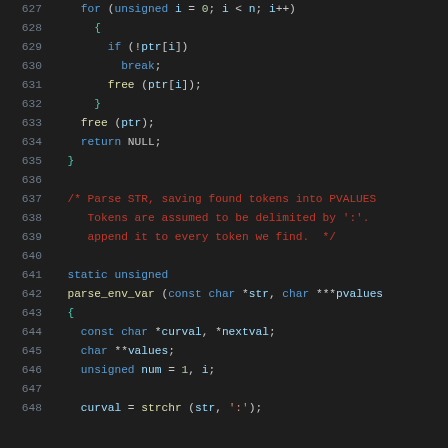[Figure (screenshot): Source code listing in a dark-themed code editor showing C code lines 627-648, with syntax highlighting. Line numbers in gray on left, keywords in blue, comments in red, variables in light blue, function names in yellow, punctuation in white.]